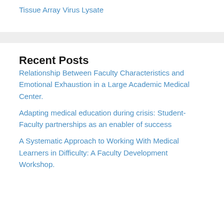Tissue Array
Virus Lysate
Recent Posts
Relationship Between Faculty Characteristics and Emotional Exhaustion in a Large Academic Medical Center.
Adapting medical education during crisis: Student-Faculty partnerships as an enabler of success
A Systematic Approach to Working With Medical Learners in Difficulty: A Faculty Development Workshop.